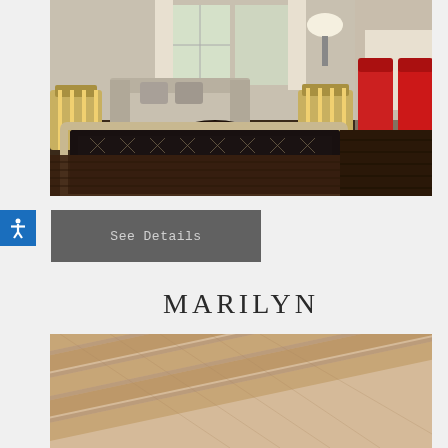[Figure (photo): Interior living room photo showing a beige sofa, yellow striped armchairs, a dark oval coffee table on a black patterned rug with cream border, hardwood floors, and red dining chairs visible on the right side.]
See Details
MARILYN
[Figure (photo): Close-up photo of wooden ceiling beams or planks in warm brown tones, viewed from below at an angle.]